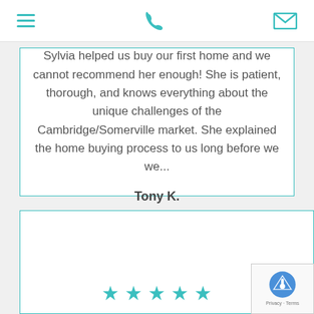Navigation header with hamburger menu, phone icon, and mail icon
Sylvia helped us buy our first home and we cannot recommend her enough! She is patient, thorough, and knows everything about the unique challenges of the Cambridge/Somerville market. She explained the home buying process to us long before we we...
Tony K.
[Figure (other): Five teal/turquoise star rating icons at the bottom of a second testimonial card]